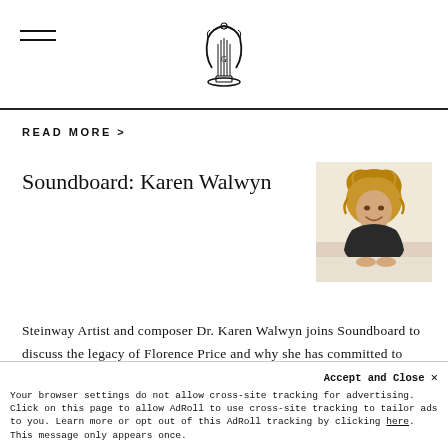[hamburger menu icon] [lyre/harp logo]
READ MORE >
Soundboard: Karen Walwyn
[Figure (photo): Photo of Dr. Karen Walwyn, a woman with curly blonde hair, smiling, leaning over a piano or surface.]
Steinway Artist and composer Dr. Karen Walwyn joins Soundboard to discuss the legacy of Florence Price and why she has committed to recording Price's complete solo piano repertoire.
READ MORE >
Accept and Close ×
Your browser settings do not allow cross-site tracking for advertising. Click on this page to allow AdRoll to use cross-site tracking to tailor ads to you. Learn more or opt out of this AdRoll tracking by clicking here. This message only appears once.